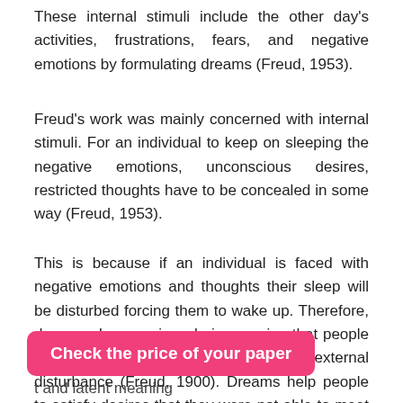These internal stimuli include the other day's activities, frustrations, fears, and negative emotions by formulating dreams (Freud, 1953).
Freud's work was mainly concerned with internal stimuli. For an individual to keep on sleeping the negative emotions, unconscious desires, restricted thoughts have to be concealed in some way (Freud, 1953).
This is because if an individual is faced with negative emotions and thoughts their sleep will be disturbed forcing them to wake up. Therefore, dreams play a major role in ensuring that people are able to sleep well without internal or external disturbance (Freud, 1900). Dreams help people to satisfy desires that they were not able to meet in the conscious life, which eventually leads to a
Check the price of your paper
t and latent meaning